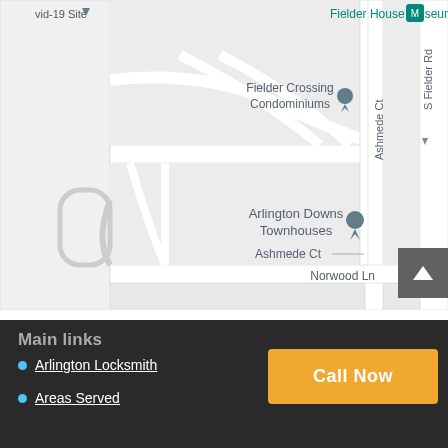[Figure (map): Google Maps screenshot showing Fielder House Museum, Fielder Crossing Condominiums, Arlington Downs Townhouses, Ashmede Ct, Norwood Ln, S Fielder Rd streets in Arlington, TX area.]
Main links
Arlington Locksmith
Areas Served